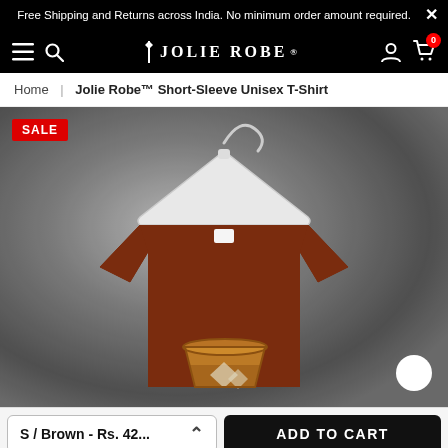Free Shipping and Returns across India. No minimum order amount required.
[Figure (screenshot): Jolie Robe e-commerce website navigation bar with hamburger menu, search icon, Jolie Robe logo, account icon, and cart icon with badge showing 0]
Home | Jolie Robe™ Short-Sleeve Unisex T-Shirt
[Figure (photo): Product photo of a brown short-sleeve unisex t-shirt hanging on a white hanger against a dark grey textured background, with a SALE badge in the top-left corner, and a cartoon whisky glass graphic printed on the shirt]
S / Brown - Rs. 42...
ADD TO CART